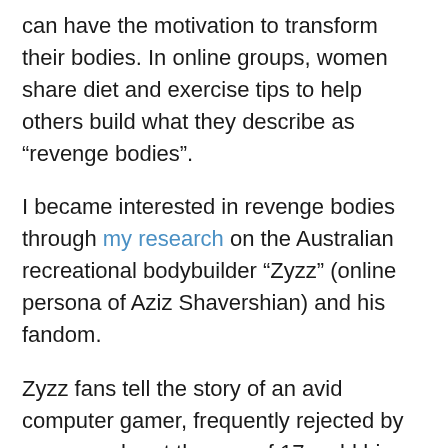can have the motivation to transform their bodies. In online groups, women share diet and exercise tips to help others build what they describe as “revenge bodies”.
I became interested in revenge bodies through my research on the Australian recreational bodybuilder “Zyzz” (online persona of Aziz Shavershian) and his fandom.
Zyzz fans tell the story of an avid computer gamer, frequently rejected by women, who at the age of 17, sold his World of Warcraft profile to buy a gym membership. In just a few years he transformed himself from skinny geek to muscular Adonis.
Many Zyzz fans transform their bodies to take revenge -